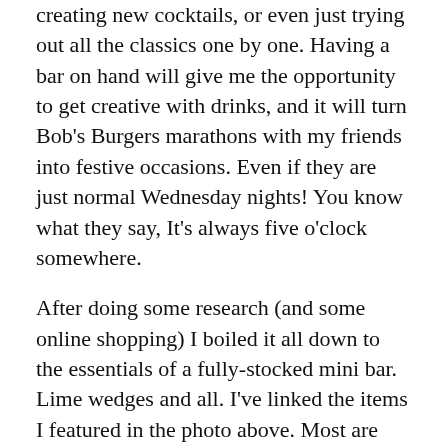creating new cocktails, or even just trying out all the classics one by one. Having a bar on hand will give me the opportunity to get creative with drinks, and it will turn Bob's Burgers marathons with my friends into festive occasions. Even if they are just normal Wednesday nights! You know what they say, It's always five o'clock somewhere.
After doing some research (and some online shopping) I boiled it all down to the essentials of a fully-stocked mini bar. Lime wedges and all. I've linked the items I featured in the photo above. Most are under $20.
Home Bar Essentials:
Well, first you'll need a bar cart, a cabinet, or another surface you'd like to use as bar storage.
The Basics:
Ice bucket
Shaker